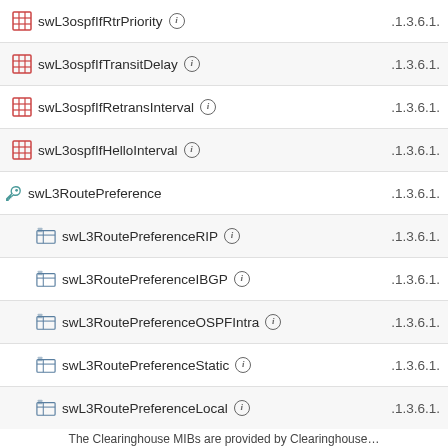swL3ospfIfRtrPriority  .1.3.6.1.
swL3ospfIfTransitDelay  .1.3.6.1.
swL3ospfIfRetransInterval  .1.3.6.1.
swL3ospfIfHelloInterval  .1.3.6.1.
swL3RoutePreference  .1.3.6.1.
swL3RoutePreferenceRIP  .1.3.6.1.
swL3RoutePreferenceIBGP  .1.3.6.1.
swL3RoutePreferenceOSPFIntra  .1.3.6.1.
swL3RoutePreferenceStatic  .1.3.6.1.
swL3RoutePreferenceLocal  .1.3.6.1.
swL3RoutePreferenceOSPFInter  .1.3.6.1.
swL3RoutePreferenceOSPFExtT1  .1.3.6.1.
swL3RoutePreferenceOSPFExtT2  .1.3.6.1.
swL3RoutePreferenceDefault  .1.3.6.1.
swL3RoutePreferenceEBGP  .1.3.6.1.
The Clearinghouse MIBs are provided by Clearinghouse…